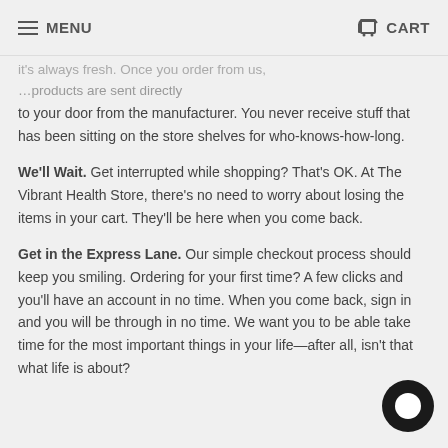MENU | CART
It's always fresh. Once you order from us, products are sent directly to your door from the manufacturer. You never receive stuff that has been sitting on the store shelves for who-knows-how-long.
We'll Wait. Get interrupted while shopping? That's OK. At The Vibrant Health Store, there's no need to worry about losing the items in your cart. They'll be here when you come back.
Get in the Express Lane. Our simple checkout process should keep you smiling. Ordering for your first time? A few clicks and you'll have an account in no time. When you come back, sign in and you will be through in no time. We want you to be able take time for the most important things in your life—after all, isn't that what life is about?